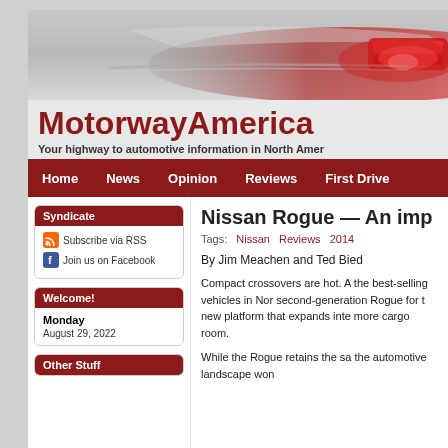[Figure (photo): Banner image of a red car hood/front area on a grey gradient background]
MotorwayAmerica
Your highway to automotive information in North America
Home   News   Opinion   Reviews   First Drive
Syndicate
Subscribe via RSS
Join us on Facebook
Welcome!
Monday
August 29, 2022
Other Stuff
Nissan Rogue — An imp
Tags:  Nissan   Reviews   2014
By Jim Meachen and Ted Bied
Compact crossovers are hot. A the best-selling vehicles in Nor second-generation Rogue for t new platform that expands inte more cargo room.
While the Rogue retains the sa the automotive landscape won